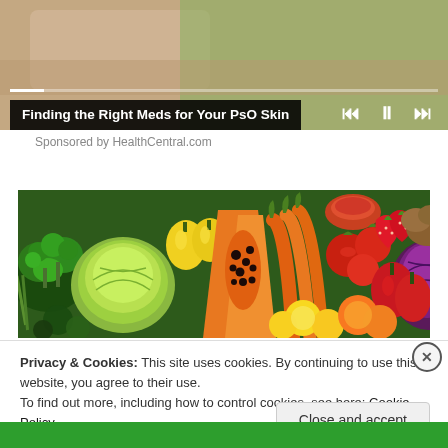[Figure (screenshot): Media player with podcast episode - hand pressing play on device, with progress bar and playback controls (skip back, pause, skip forward). Title overlay reads 'Finding the Right Meds for Your PsO Skin'.]
Sponsored by HealthCentral.com
[Figure (photo): Colorful array of fresh vegetables and fruits including broccoli, cabbage, yellow bell peppers, papaya, carrots, tomatoes, strawberries, red bell peppers, red cabbage, lemons, and oranges arranged in a rainbow spectrum.]
Privacy & Cookies: This site uses cookies. By continuing to use this website, you agree to their use.
To find out more, including how to control cookies, see here: Cookie Policy